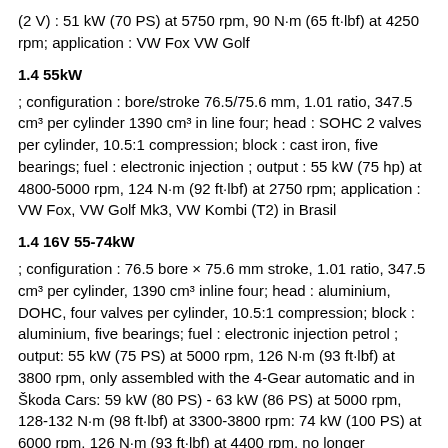(2 V) : 51 kW (70 PS) at 5750 rpm, 90 N·m (65 ft·lbf) at 4250 rpm; application : VW Fox VW Golf
1.4 55kW
; configuration : bore/stroke 76.5/75.6 mm, 1.01 ratio, 347.5 cm³ per cylinder 1390 cm³ in line four; head : SOHC 2 valves per cylinder, 10.5:1 compression; block : cast iron, five bearings; fuel : electronic injection ; output : 55 kW (75 hp) at 4800-5000 rpm, 124 N·m (92 ft·lbf) at 2750 rpm; application : VW Fox, VW Golf Mk3, VW Kombi (T2) in Brasil
1.4 16V 55-74kW
; configuration : 76.5 bore × 75.6 mm stroke, 1.01 ratio, 347.5 cm³ per cylinder, 1390 cm³ inline four; head : aluminium, DOHC, four valves per cylinder, 10.5:1 compression; block : aluminium, five bearings; fuel : electronic injection petrol ; output: 55 kW (75 PS) at 5000 rpm, 126 N·m (93 ft·lbf) at 3800 rpm, only assembled with the 4-Gear automatic and in Škoda Cars: 59 kW (80 PS) - 63 kW (86 PS) at 5000 rpm, 128-132 N·m (98 ft·lbf) at 3300-3800 rpm: 74 kW (100 PS) at 6000 rpm, 126 N·m (93 ft·lbf) at 4400 rpm, no longer assembled in western Europe; applications : VW Polo, VW Golf,